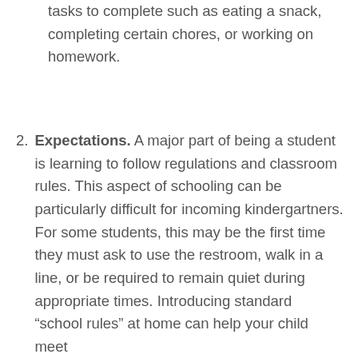tasks to complete such as eating a snack, completing certain chores, or working on homework.
2. Expectations. A major part of being a student is learning to follow regulations and classroom rules. This aspect of schooling can be particularly difficult for incoming kindergartners. For some students, this may be the first time they must ask to use the restroom, walk in a line, or be required to remain quiet during appropriate times. Introducing standard “school rules” at home can help your child meet